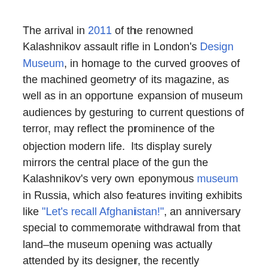The arrival in 2011 of the renowned Kalashnikov assault rifle in London's Design Museum, in homage to the curved grooves of the machined geometry of its magazine, as well as in an opportune expansion of museum audiences by gesturing to current questions of terror, may reflect the prominence of the objection modern life.  Its display surely mirrors the central place of the gun the Kalashnikov's very own eponymous museum in Russia, which also features inviting exhibits like “Let's recall Afghanistan!", an anniversary special to commemorate withdrawal from that land–the museum opening was actually attended by its designer, the recently deceased lieutenant-general for the Red Army who designed the assault rifle as an effective arm to “defend the mother country” during World War II.

For further in a more historical display on the